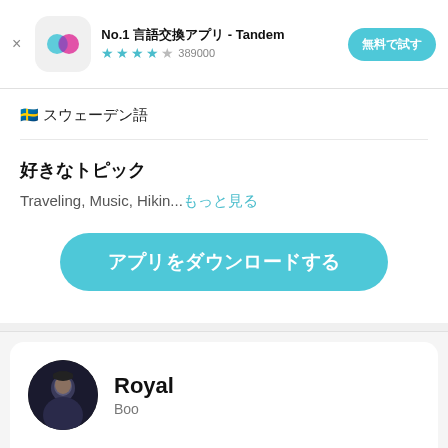[Figure (screenshot): Ad banner for Tandem app with logo icon, title 'No.1 言語交換アプリ - Tandem', star rating 4.5 stars with 389000 reviews, and '無料で試す' button]
🇸🇪 スウェーデン語
好きなトピック
Traveling, Music, Hikin...もっと見る
アプリをダウンロードする
Royal
Boo